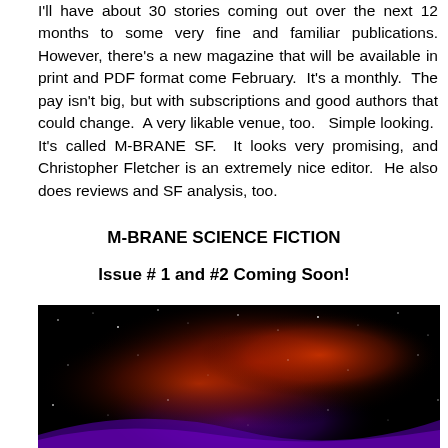I'll have about 30 stories coming out over the next 12 months to some very fine and familiar publications. However, there's a new magazine that will be available in print and PDF format come February. It's a monthly. The pay isn't big, but with subscriptions and good authors that could change. A very likable venue, too. Simple looking. It's called M-BRANE SF. It looks very promising, and Christopher Fletcher is an extremely nice editor. He also does reviews and SF analysis, too.
M-BRANE SCIENCE FICTION
Issue # 1 and #2 Coming Soon!
[Figure (photo): Space/nebula image with red and purple cosmic clouds and stars against a black background]